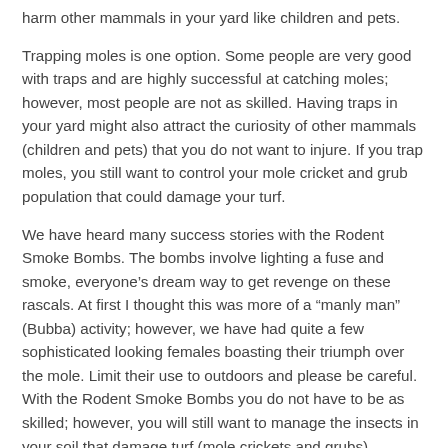harm other mammals in your yard like children and pets.
Trapping moles is one option. Some people are very good with traps and are highly successful at catching moles; however, most people are not as skilled. Having traps in your yard might also attract the curiosity of other mammals (children and pets) that you do not want to injure. If you trap moles, you still want to control your mole cricket and grub population that could damage your turf.
We have heard many success stories with the Rodent Smoke Bombs. The bombs involve lighting a fuse and smoke, everyone’s dream way to get revenge on these rascals. At first I thought this was more of a “manly man” (Bubba) activity; however, we have had quite a few sophisticated looking females boasting their triumph over the mole. Limit their use to outdoors and please be careful. With the Rodent Smoke Bombs you do not have to be as skilled; however, you will still want to manage the insects in your soil that damage turf (mole crickets and grubs).
I still recommend a 3 prong approach when controlling moles for the less adventurous. These 3 steps are: